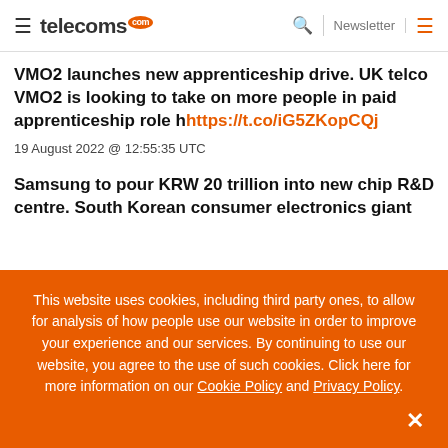telecoms.com — Newsletter
VMO2 launches new apprenticeship drive. UK telco VMO2 is looking to take on more people in paid apprenticeship role h https://t.co/iG5ZKopCQj
19 August 2022 @ 12:55:35 UTC
Samsung to pour KRW 20 trillion into new chip R&D centre. South Korean consumer electronics giant
This website uses cookies, including third party ones, to allow for analysis of how people use our website in order to improve your experience and our services. By continuing to use our website, you agree to the use of such cookies. Click here for more information on our Cookie Policy and Privacy Policy.